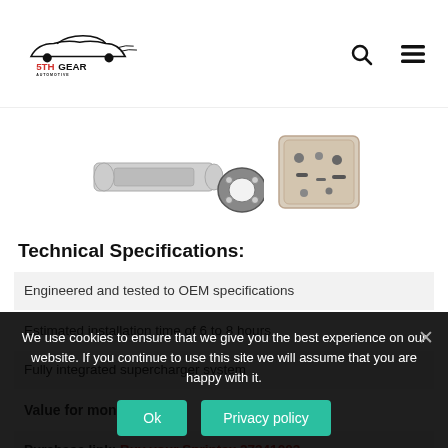5TH GEAR AUTOMOTIVE
[Figure (photo): Product image strip showing automotive supercharger kit components including a bar, gaskets, and hardware bag]
Technical Specifications:
Engineered and tested to OEM specifications
Estimated installation time of 6 to 8 hours
Fully integrated supercharger system
Value for money: ····
Purchase link: Buy your Sprintex 27341003
We use cookies to ensure that we give you the best experience on our website. If you continue to use this site we will assume that you are happy with it.
Ok   Privacy policy